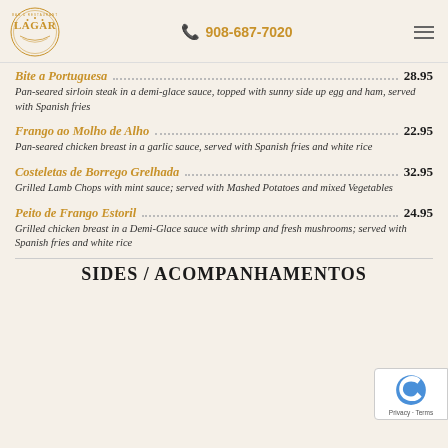Lagar Bar & Restaurant — 908-687-7020
Bite a Portuguesa — 28.95
Pan-seared sirloin steak in a demi-glace sauce, topped with sunny side up egg and ham, served with Spanish fries
Frango ao Molho de Alho — 22.95
Pan-seared chicken breast in a garlic sauce, served with Spanish fries and white rice
Costeletas de Borrego Grelhada — 32.95
Grilled Lamb Chops with mint sauce; served with Mashed Potatoes and mixed Vegetables
Peito de Frango Estoril — 24.95
Grilled chicken breast in a Demi-Glace sauce with shrimp and fresh mushrooms; served with Spanish fries and white rice
SIDES / ACOMPANHAMENTOS